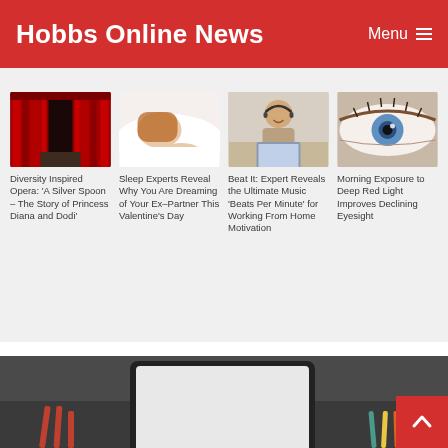Hobbs Online News | Menu ≡
[Figure (screenshot): Red theatrical curtain on a stage]
Diversity Inspired Opera: 'A Silver Spoon – The Story of Princess Diana and Dodi'
[Figure (photo): Woman sleeping on white pillow]
Sleep Experts Reveal Why You Are Dreaming of Your Ex–Partner This Valentine's Day
[Figure (photo): Man with headset working on laptop]
Beat It: Expert Reveals the Ultimate Music 'Beats Per Minute' for Working From Home Motivation
[Figure (photo): Close-up of a blue eye with eyelashes]
Morning Exposure to Deep Red Light Improves Declining Eyesight
[Figure (photo): Tablet and pencils on a dark desk surface, bottom of page]